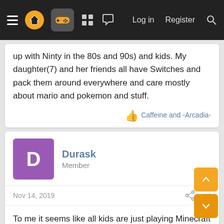Navigation bar with hamburger menu, logo, gamepad icon, grid icon, chat icon, Log in, Register, Search
up with Ninty in the 80s and 90s) and kids. My daughter(7) and her friends all have Switches and pack them around everywhere and care mostly about mario and pokemon and stuff.
Caffeine and -Arcadia-
Durask
Member
Nov 14, 2019
#4
To me it seems like all kids are just playing Minecraft and only Minecraft.
Shadowstar39, matheusnienow and Caffeine